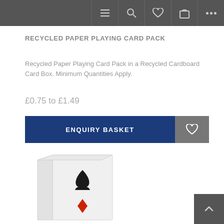Navigation bar with menu, search, wishlist, basket, and more icons
RECYCLED PAPER PLAYING CARD PACK
Recycled Paper Playing Card Pack in a Recycled Cardboard Card Box. Minimum Quantities Apply.
£0.75 to £1.49
ENQUIRY BASKET
[Figure (photo): White cardboard playing card box with a black spade symbol on the front and a red diamond symbol below it, shown at an angle against a white background.]
Back to top arrow button